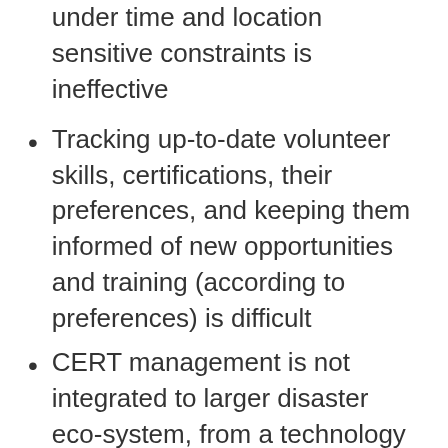under time and location sensitive constraints is ineffective
Tracking up-to-date volunteer skills, certifications, their preferences, and keeping them informed of new opportunities and training (according to preferences) is difficult
CERT management is not integrated to larger disaster eco-system, from a technology perspective
Most often the volunteers are not directly engaged in the self-servicing of their CERT information or preferences, and often lack solutions where they are actively engaged or part of their extended community, so collaborative